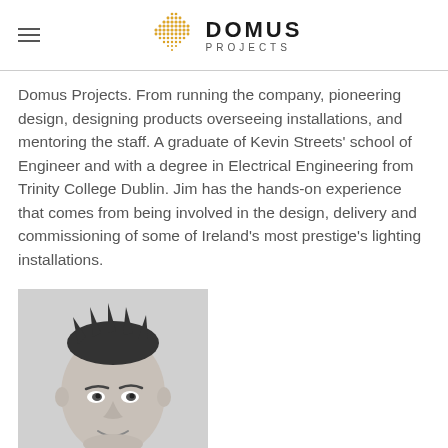DOMUS PROJECTS
Domus Projects. From running the company, pioneering design, designing products overseeing installations, and mentoring the staff. A graduate of Kevin Streets' school of Engineer and with a degree in Electrical Engineering from Trinity College Dublin. Jim has the hands-on experience that comes from being involved in the design, delivery and commissioning of some of Ireland's most prestige's lighting installations.
[Figure (photo): Black and white headshot portrait of a man with short spiky hair, looking directly at camera, wearing a light colored shirt.]